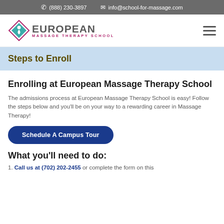(888) 230-3897  info@school-for-massage.com
[Figure (logo): European Massage Therapy School logo with diamond shape containing a figure and text]
Steps to Enroll
Enrolling at European Massage Therapy School
The admissions process at European Massage Therapy School is easy! Follow the steps below and you'll be on your way to a rewarding career in Massage Therapy!
Schedule A Campus Tour
What you'll need to do:
1. Call us at (702) 202-2455 or complete the form on this